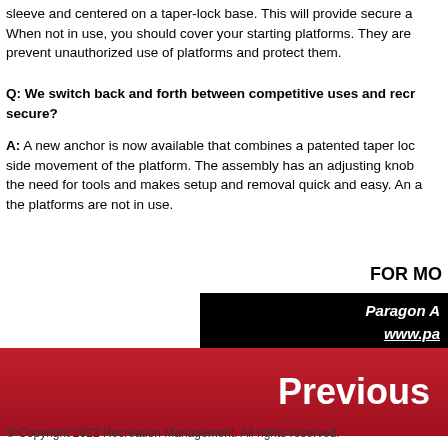sleeve and centered on a taper-lock base. This will provide secure a
When not in use, you should cover your starting platforms. They are prevent unauthorized use of platforms and protect them.
Q: We switch back and forth between competitive uses and recr secure?
A: A new anchor is now available that combines a patented taper loc side movement of the platform. The assembly has an adjusting knob the need for tools and makes setup and removal quick and easy. An the platforms are not in use.
FOR MO
Paragon A www.pa
[Figure (other): Red banner with 'Previous' text in white bold font]
© Copyright 2022 Recreation Management. All rights reserved.